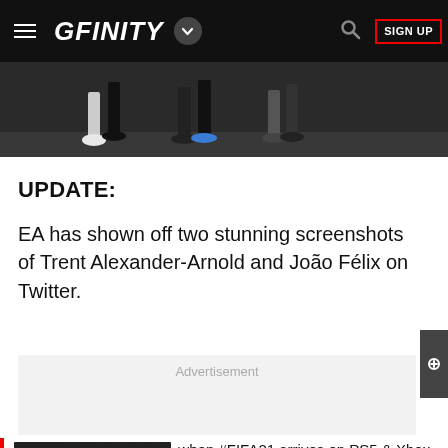GFINITY
[Figure (screenshot): Partial hero image showing legs/feet of football players on a dark surface]
UPDATE:
EA has shown off two stunning screenshots of Trent Alexander-Arnold and João Félix on Twitter.
Advertisement
[redacted] when #FIFA21 arrives on PS5 & Xbox Series X|S on December 4th